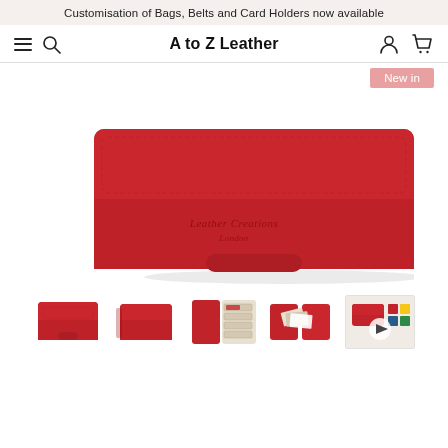Customisation of Bags, Belts and Card Holders now available
A to Z Leather
New in
[Figure (photo): Red leather wallet (main product image) with embossed Leather Creations London branding, viewed from front/top angle]
[Figure (photo): Thumbnail 1: Red leather wallet closed, front view]
[Figure (photo): Thumbnail 2: Red leather wallet closed, angled view]
[Figure (photo): Thumbnail 3: Red leather wallet open showing card slots]
[Figure (photo): Thumbnail 4: Red leather card holder/wallet open]
[Figure (photo): Thumbnail 5: Video thumbnail showing red leather wallet with play button]